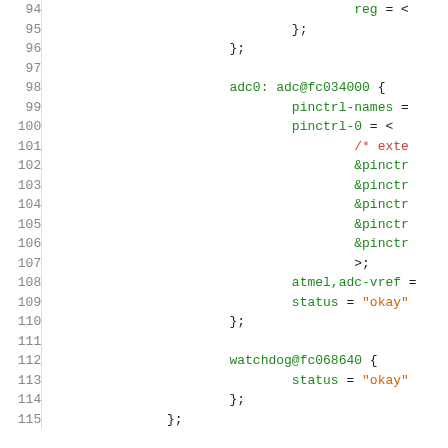Code listing showing device tree source lines 94-115 with ADC and watchdog node definitions